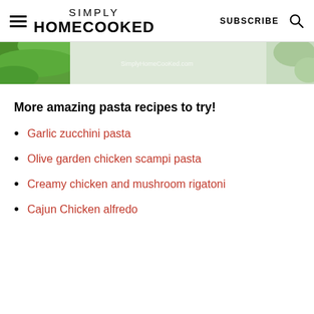SIMPLY HOMECOOKED | SUBSCRIBE
[Figure (photo): Partial food/ingredient photo with basil leaves and light background, with SimplyHomeCooKed.com watermark]
More amazing pasta recipes to try!
Garlic zucchini pasta
Olive garden chicken scampi pasta
Creamy chicken and mushroom rigatoni
Cajun Chicken alfredo